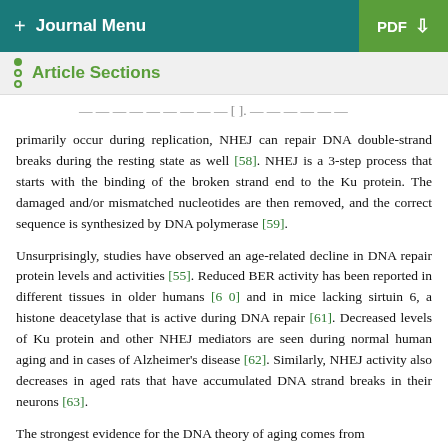+ Journal Menu | PDF ↓
Article Sections
...primarily occur during replication, NHEJ can repair DNA double-strand breaks during the resting state as well [58]. NHEJ is a 3-step process that starts with the binding of the broken strand end to the Ku protein. The damaged and/or mismatched nucleotides are then removed, and the correct sequence is synthesized by DNA polymerase [59].
Unsurprisingly, studies have observed an age-related decline in DNA repair protein levels and activities [55]. Reduced BER activity has been reported in different tissues in older humans [60] and in mice lacking sirtuin 6, a histone deacetylase that is active during DNA repair [61]. Decreased levels of Ku protein and other NHEJ mediators are seen during normal human aging and in cases of Alzheimer's disease [62]. Similarly, NHEJ activity also decreases in aged rats that have accumulated DNA strand breaks in their neurons [63].
The strongest evidence for the DNA theory of aging comes from